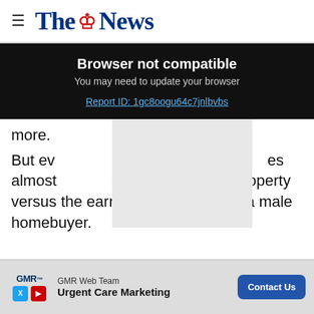The News
Browser not compatible
You may need to update your browser
Report ID: 1gc8oogu64c7jnlbvbs
more.
But ev... is at its sma... es almost... over the cost of a property versus the earnings required from a male homebuyer.
[Figure (infographic): Advertisement banner for GMR Web Team Urgent Care Marketing with Contact Us button]
Mistal...: